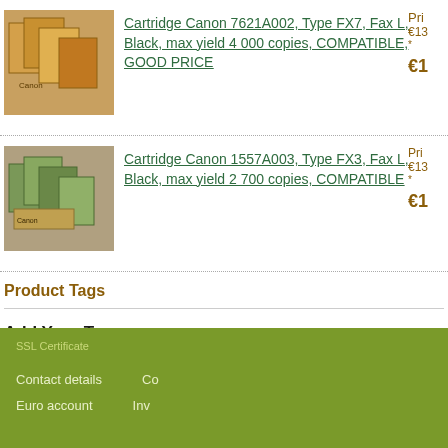[Figure (photo): Product image of Canon cartridge boxes]
Cartridge Canon 7621A002, Type FX7, Fax L, Black, max yield 4 000 copies, COMPATIBLE, GOOD PRICE
Pri... €13... *€1...
[Figure (photo): Product image of Canon cartridge boxes]
Cartridge Canon 1557A003, Type FX3, Fax L, Black, max yield 2 700 copies, COMPATIBLE
Pri... €13... *€1...
Product Tags
Add Your Tags:
Use spaces to separate tags. Use single quotes (') for phrases.
SSL Certificate   Contact details   Co...   Euro account   Inv...